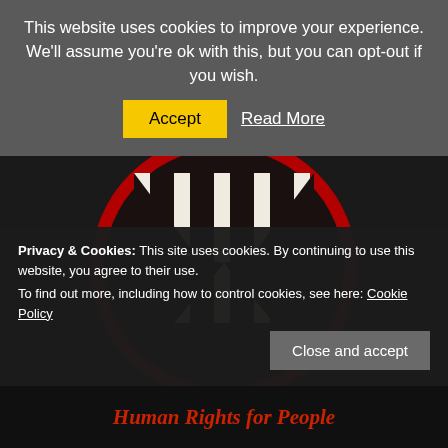This website uses cookies to improve your experience. We'll assume you're ok with this, but you can opt-out if you wish.
Accept | Read More
[Figure (logo): Circular logo with dark background and stylized 'M' letter formed by vertical black and white stripes, bordered in red]
Privacy & Cookies: This site uses cookies. By continuing to use this website, you agree to their use. To find out more, including how to control cookies, see here: Cookie Policy
Close and accept
Human Rights for People